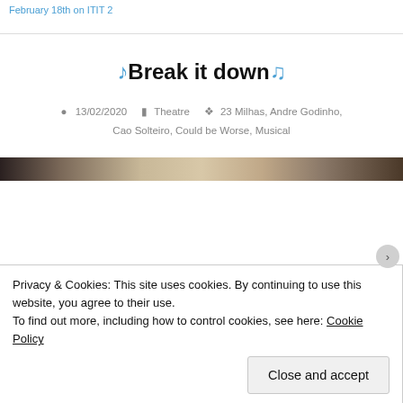February 18th on ITIT 2
🎵Break it down🎵
13/02/2020   Theatre   23 Milhas, Andre Godinho, Cao Solteiro, Could be Worse, Musical
[Figure (photo): Dark-toned horizontal image strip showing a blurred stage or performance scene]
Privacy & Cookies: This site uses cookies. By continuing to use this website, you agree to their use.
To find out more, including how to control cookies, see here: Cookie Policy
Close and accept